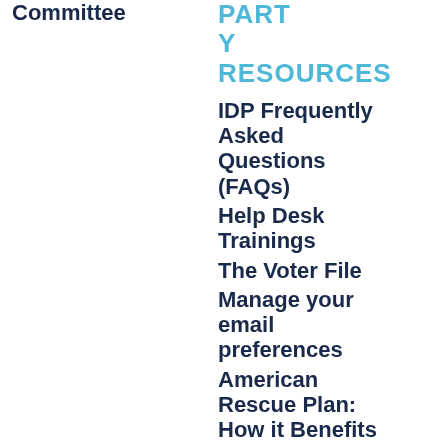Committee
PARTY RESOURCES
IDP Frequently Asked Questions (FAQs)
Help Desk Trainings
The Voter File
Manage your email preferences
American Rescue Plan: How it Benefits